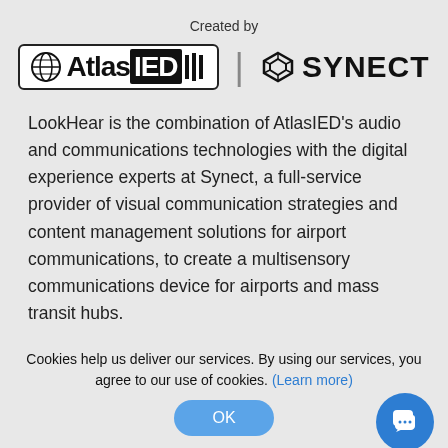Created by
[Figure (logo): AtlasIED logo and Synect logo side by side with a vertical divider]
LookHear is the combination of AtlasIED's audio and communications technologies with the digital experience experts at Synect, a full-service provider of visual communication strategies and content management solutions for airport communications, to create a multisensory communications device for airports and mass transit hubs.
Cookies help us deliver our services. By using our services, you agree to our use of cookies. (Learn more)